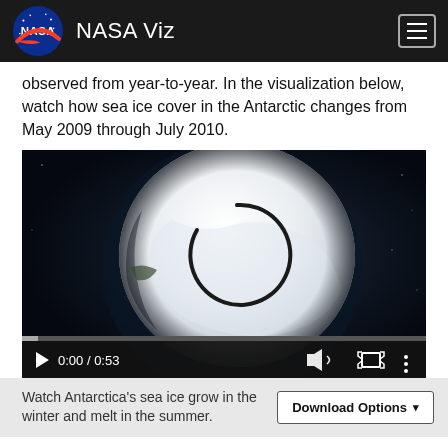NASA Viz
observed from year-to-year. In the visualization below, watch how sea ice cover in the Antarctic changes from May 2009 through July 2010.
[Figure (screenshot): Video player showing Antarctica sea ice visualization. A white ice-covered Antarctica globe is centered on a dark background. Video controls show 0:00 / 0:53 timestamp at the bottom with play button, volume, fullscreen, and more options icons. A loading spinner arc is visible over the image.]
Watch Antarctica's sea ice grow in the winter and melt in the summer.